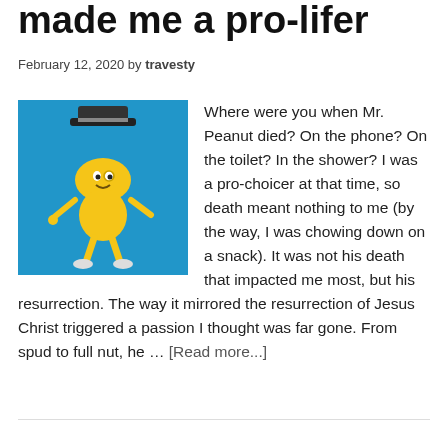made me a pro-lifer
February 12, 2020 by travesty
[Figure (photo): Mr. Peanut character mascot wearing a top hat, standing against a blue background]
Where were you when Mr. Peanut died? On the phone? On the toilet? In the shower? I was a pro-choicer at that time, so death meant nothing to me (by the way, I was chowing down on a snack). It was not his death that impacted me most, but his resurrection. The way it mirrored the resurrection of Jesus Christ triggered a passion I thought was far gone. From spud to full nut, he … [Read more...]